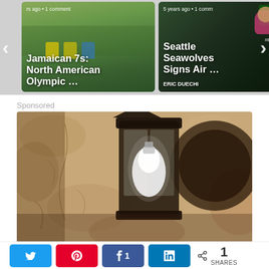[Figure (screenshot): Carousel with two article cards. Left card: 'Jamaican 7s: North American Olympic ...' with team photo background, meta text 'rs ago • 1 comment'. Right card: 'Seattle Seawolves Signs Air ...' with player photo background, meta text '5 years ago • 1 comm', sub-label 'ERIC DUECHI'. Left arrow and right arrow navigation visible.]
Sponsored
[Figure (photo): Sponsored advertisement image showing a rustic outdoor wall lamp/lantern mounted on a textured stucco/adobe wall. The lantern has a dark metal frame and holds a white LED bulb. The image has warm sepia-brown tones.]
[Figure (screenshot): Social share bar with Twitter (blue), Pinterest (red), Facebook (blue, showing count 1), LinkedIn (blue) buttons, and a share icon with count '1 SHARES'.]